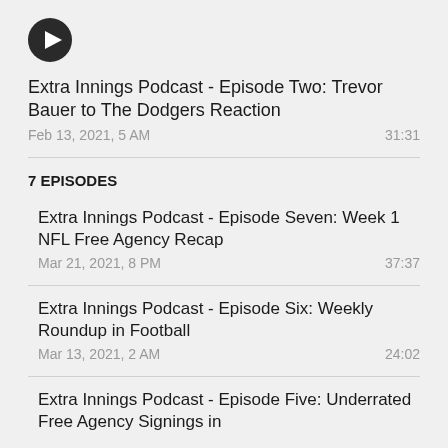[Figure (other): Play button icon (dark circle with triangle)]
Extra Innings Podcast - Episode Two: Trevor Bauer to The Dodgers Reaction
Feb 13, 2021, 5 AM    31:31
7 EPISODES
Extra Innings Podcast - Episode Seven: Week 1 NFL Free Agency Recap
Mar 21, 2021, 8 PM    37:37
Extra Innings Podcast - Episode Six: Weekly Roundup in Football
Mar 13, 2021, 2 AM    24:02
Extra Innings Podcast - Episode Five: Underrated Free Agency Signings in